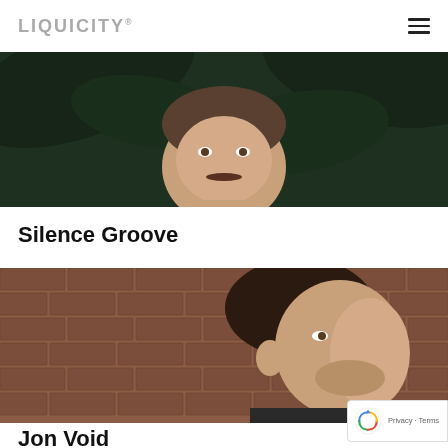LIQUICITY®
[Figure (photo): Close-up portrait of a man (Silence Groove) with dark foliage leaves in the background, looking directly at the camera with a neutral expression.]
Silence Groove
[Figure (photo): Profile portrait of a man (Jon Void) in front of a brick wall, looking upward to the side, wearing a dark jacket.]
Jon Void